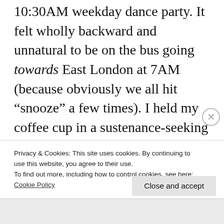10:30AM weekday dance party. It felt wholly backward and unnatural to be on the bus going towards East London at 7AM (because obviously we all hit “snooze” a few times). I held my coffee cup in a sustenance-seeking death grip as the sun winked cheerfully at me, as if to say, “See what you’re missing by not rising with me every day?” I did not deign to answer. Upon arriving, a manically happy woman set upon me and gave me a hug. I laughed
Privacy & Cookies: This site uses cookies. By continuing to use this website, you agree to their use.
To find out more, including how to control cookies, see here: Cookie Policy